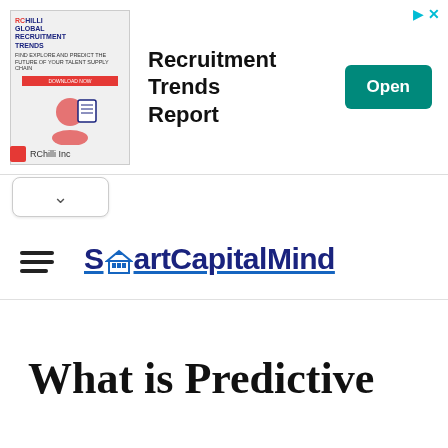[Figure (screenshot): RChilli Inc advertisement banner showing 'Global Recruitment Trends' report with an Open button and close controls]
[Figure (screenshot): Collapse/chevron up button below the ad banner]
[Figure (logo): SmartCapitalMind logo with hamburger menu icon on left, bank/temple icon within the logo text]
What is Predictive